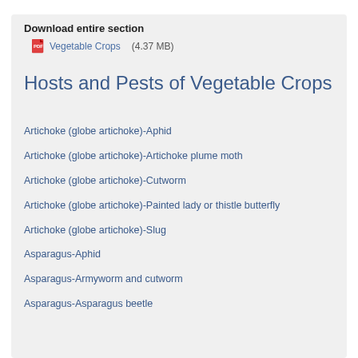Download entire section
Vegetable Crops    (4.37 MB)
Hosts and Pests of Vegetable Crops
Artichoke (globe artichoke)-Aphid
Artichoke (globe artichoke)-Artichoke plume moth
Artichoke (globe artichoke)-Cutworm
Artichoke (globe artichoke)-Painted lady or thistle butterfly
Artichoke (globe artichoke)-Slug
Asparagus-Aphid
Asparagus-Armyworm and cutworm
Asparagus-Asparagus beetle